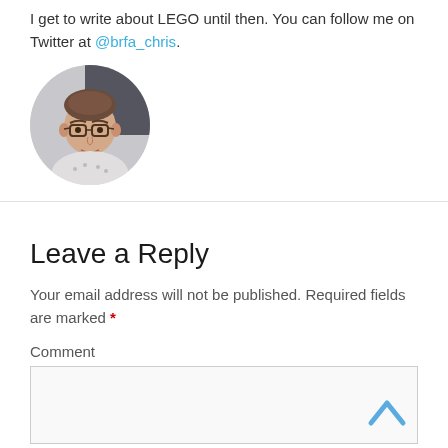I get to write about LEGO until then. You can follow me on Twitter at @brfa_chris.
[Figure (photo): Circular profile photo of a young man with glasses and short brown hair, wearing a white patterned shirt, against a dark background.]
Leave a Reply
Your email address will not be published. Required fields are marked *
Comment